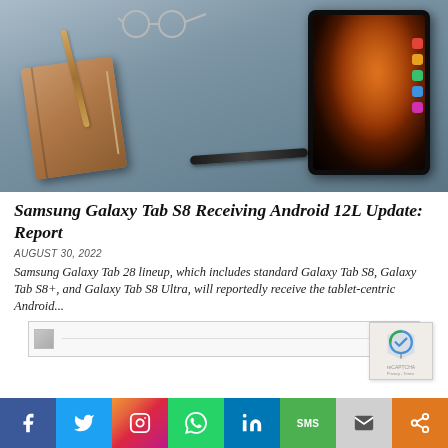[Figure (photo): Samsung Galaxy Tab S8 tablet with S Pen stylus, alongside a leather notebook, pen, and glasses on a gray background]
Samsung Galaxy Tab S8 Receiving Android 12L Update: Report
AUGUST 30, 2022
Samsung Galaxy Tab 28 lineup, which includes standard Galaxy Tab S8, Galaxy Tab S8+, and Galaxy Tab S8 Ultra, will reportedly receive the tablet-centric Android...